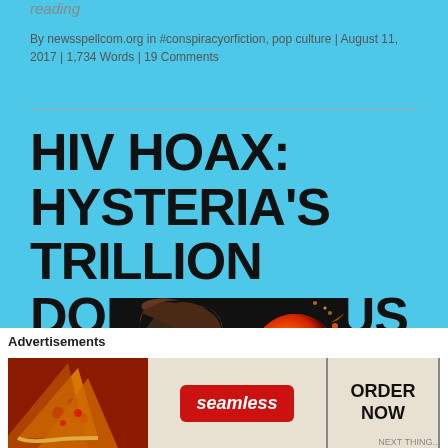reading
By newsspellcom.org in #conspiracyorfiction, pop culture | August 11, 2017 | 1,734 Words | 19 Comments
HIV HOAX: HYSTERIA'S TRILLION DOLLAR VIRUS
[Figure (photo): Article header image showing a person with dark hair on the left and a fiery planet/sphere on the right against a dark background]
Advertisements
[Figure (photo): Seamless food delivery advertisement banner showing pizza slices on the left, Seamless logo in the center, and ORDER NOW button on the right]